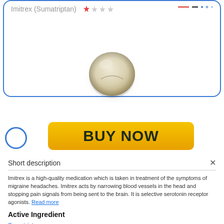Imitrex (Sumatriptan)
[Figure (photo): A round beige/cream pharmaceutical tablet with a score line, shown from above against white background]
[Figure (other): Yellow-orange gradient BUY NOW button]
Short description
Imitrex is a high-quality medication which is taken in treatment of the symptoms of migraine headaches. Imitrex acts by narrowing blood vessels in the head and stopping pain signals from being sent to the brain. It is selective serotonin receptor agonists. Read more
Active Ingredient
Sumatriptan.